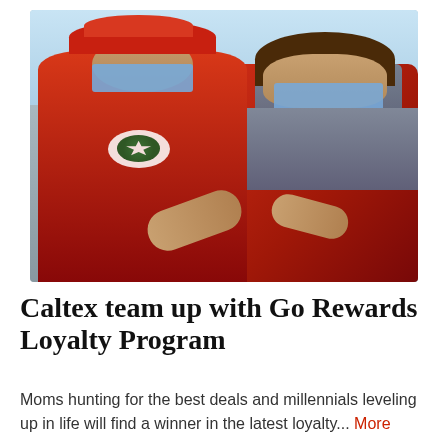[Figure (photo): A Caltex gas station worker in a red uniform and red cap, wearing a blue face mask, handing something to a woman seated in a red car who is also wearing a blue face mask. The worker wears a Caltex logo on her shirt.]
Caltex team up with Go Rewards Loyalty Program
Moms hunting for the best deals and millennials leveling up in life will find a winner in the latest loyalty... More